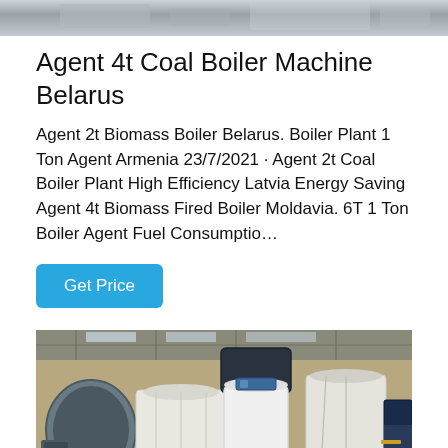[Figure (photo): Partial top view of industrial machinery, gray metallic equipment]
Agent 4t Coal Boiler Machine Belarus
Agent 2t Biomass Boiler Belarus. Boiler Plant 1 Ton Agent Armenia 23/7/2021 · Agent 2t Coal Boiler Plant High Efficiency Latvia Energy Saving Agent 4t Biomass Fired Boiler Moldavia. 6T 1 Ton Boiler Agent Fuel Consumptio…
[Figure (other): Get Price button — blue rounded rectangle with white text]
[Figure (photo): Industrial boiler equipment in a factory warehouse setting; large white cylindrical boiler with dark top section, surrounded by other machinery and industrial materials]